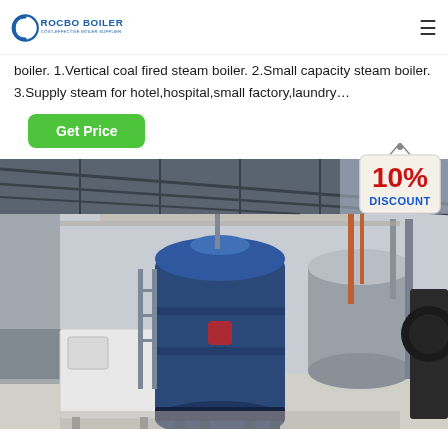ROCBO BOILER - COST-EFFECTIVE BOILER SUPPLIER
boiler. 1.Vertical coal fired steam boiler. 2.Small capacity steam boiler. 3.Supply steam for hotel,hospital,small factory,laundry…
Get Price
[Figure (photo): Industrial boiler room showing a large blue gas-fired steam boiler and cylindrical pressure vessel inside a steel-framed factory building, with a 10% DISCOUNT badge overlay in the top right corner.]